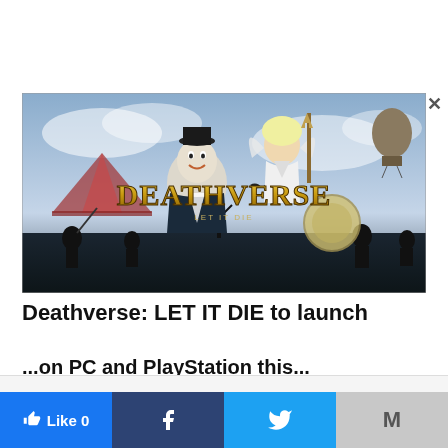[Figure (illustration): Promotional image for Deathverse: LET IT DIE game, showing stylized game characters including a fat man in suit, a female angel-like character with wings, against a dark steampunk carnival background with the game title 'DEATHVERSE' displayed in large gold letters]
Deathverse: LET IT DIE to launch
...on PC and PlayStation this...
This website uses cookies. Accept
Like 0